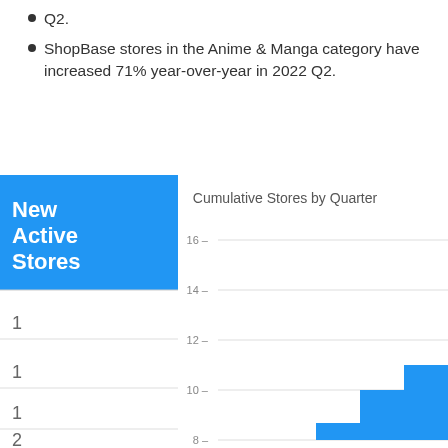Q2.
ShopBase stores in the Anime & Manga category have increased 71% year-over-year in 2022 Q2.
[Figure (bar-chart): Partial bar chart showing cumulative stores by quarter with y-axis from 8 to 16. Bars visible at right edge showing values around 10 and 11. Left side shows a table with 'New Active Stores' header and values 1,1,1,2,2. Chart is partially cropped.]